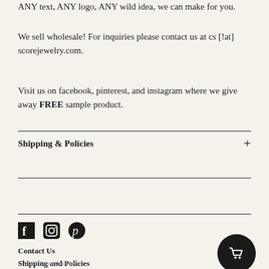ANY text, ANY logo, ANY wild idea, we can make for you.
We sell wholesale! For inquiries please contact us at cs [!at] scorejewelry.com.
Visit us on facebook, pinterest, and instagram where we give away FREE sample product.
Shipping & Policies
Contact Us
Shipping and Policies
© 2022 Score Jewelry.